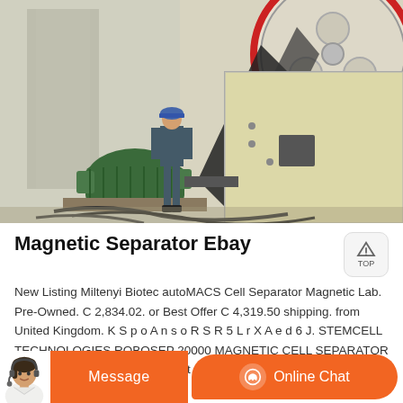[Figure (photo): Industrial machinery scene showing a large jaw crusher or similar heavy equipment with a large flywheel/pulley with red rim, belt drive, green electric motor, and a worker in blue hard hat and overalls standing near the machine. Industrial setting with concrete walls and cables on ground.]
Magnetic Separator Ebay
New Listing Miltenyi Biotec autoMACS Cell Separator Magnetic Lab. Pre-Owned. C 2,834.02. or Best Offer C 4,319.50 shipping. from United Kingdom. K S p o A n s o R S R 5 L r X A e d 6 J. STEMCELL TECHNOLOGIES ROBOSEP 20000 MAGNETIC CELL SEPARATOR 8. Pre-Owned. C 623.87. or Best Offer C 374.32 shipping. J J S p o n s I C 6 o 1 r e d K E Q N P.